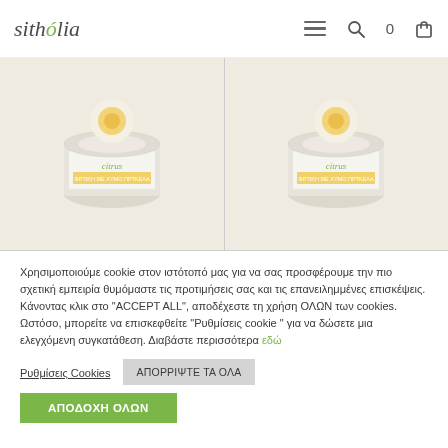sithólia
[Figure (photo): Two product shots of citrus cream jars (Sithólia brand) on a beige background, one on the left side and one on the right side]
Χρησιμοποιούμε cookie στον ιστότοπό μας για να σας προσφέρουμε την πιο σχετική εμπειρία θυμόμαστε τις προτιμήσεις σας και τις επανειλημμένες επισκέψεις. Κάνοντας κλικ στο "ACCEPT ALL", αποδέχεστε τη χρήση ΟΛΩΝ των cookies. Ωστόσο, μπορείτε να επισκεφθείτε "Ρυθμίσεις cookie " για να δώσετε μια ελεγχόμενη συγκατάθεση. Διαβάστε περισσότερα εδώ
Ρυθμίσεις Cookies
ΑΠΟΡΡΙΨΤΕ ΤΑ ΟΛΑ
ΑΠΟΔΟΧΗ ΟΛΩΝ